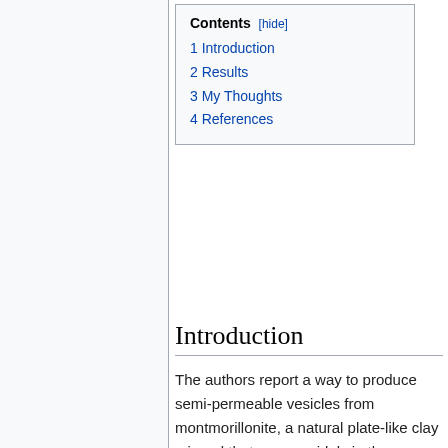| Contents |
| --- |
| 1 Introduction |
| 2 Results |
| 3 My Thoughts |
| 4 References |
Introduction
The authors report a way to produce semi-permeable vesicles from montmorillonite, a natural plate-like clay mineral that occurs widely in the environment. Simple shearing forces can assemble an aqueous suspension of montmorillonite clay plates onto air bubbles producing clay-armoured bubbles. Replacing the water with organic liquids will displace the air pocket inside the clay-armour with the liquid forming vesicles. Clay vesicles are